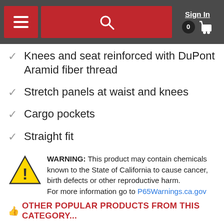Sign In | 0 (cart)
Knees and seat reinforced with DuPont Aramid fiber thread
Stretch panels at waist and knees
Cargo pockets
Straight fit
WARNING: This product may contain chemicals known to the State of California to cause cancer, birth defects or other reproductive harm. For more information go to P65Warnings.ca.gov
OTHER POPULAR PRODUCTS FROM THIS CATEGORY...